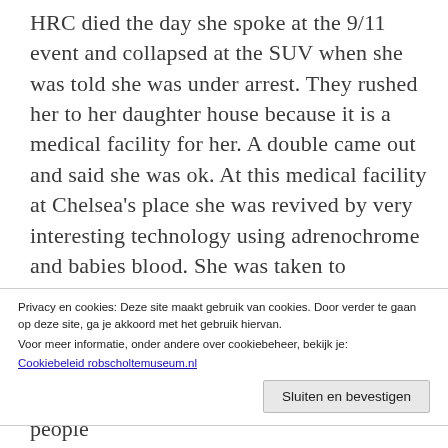HRC died the day she spoke at the 9/11 event and collapsed at the SUV when she was told she was under arrest. They rushed her to her daughter house because it is a medical facility for her. A double came out and said she was ok. At this medical facility at Chelsea's place she was revived by very interesting technology using adrenochrome and babies blood. She was taken to Greenland and put on ice and kept alive in a vegetative state. She was given a tribunal
Privacy en cookies: Deze site maakt gebruik van cookies. Door verder te gaan op deze site, ga je akkoord met het gebruik hiervan.
Voor meer informatie, onder andere over cookiebeheer, bekijk je:
Cookiebeleid robscholtemuseum.nl

Sluiten en bevestigen
By the way GITMO is full. Some of the people